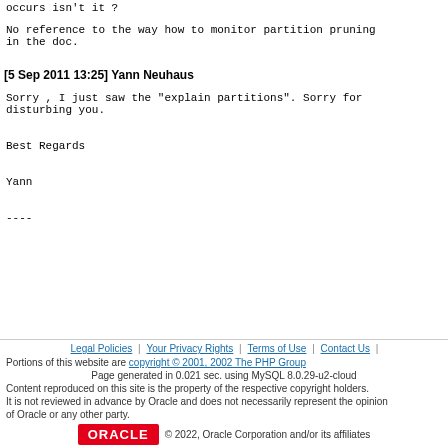occurs isn't it ?
No reference to the way how to monitor partition pruning in the doc.
[5 Sep 2011 13:25] Yann Neuhaus
Sorry , I just saw the "explain partitions". Sorry for disturbing you.

Best Regards

Yann

----
Legal Policies | Your Privacy Rights | Terms of Use | Contact Us
Portions of this website are copyright © 2001, 2002 The PHP Group
Page generated in 0.021 sec. using MySQL 8.0.29-u2-cloud
Content reproduced on this site is the property of the respective copyright holders.
It is not reviewed in advance by Oracle and does not necessarily represent the opinion of Oracle or any other party.
ORACLE © 2022, Oracle Corporation and/or its affiliates